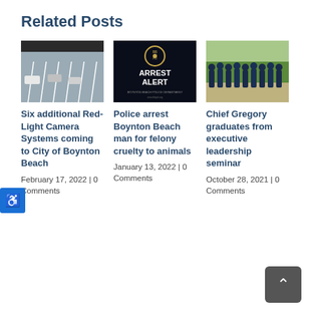Related Posts
[Figure (photo): Aerial view of a parking lot with cars, from a traffic camera]
Six additional Red-Light Camera Systems coming to City of Boynton Beach
February 17, 2022  |  0 Comments
[Figure (photo): BB PD Arrest Alert graphic with police department logo on dark background]
Police arrest Boynton Beach man for felony cruelty to animals
January 13, 2022  |  0 Comments
[Figure (photo): Group photo of police officers in dress uniforms standing outdoors]
Chief Gregory graduates from executive leadership seminar
October 28, 2021  |  0 Comments